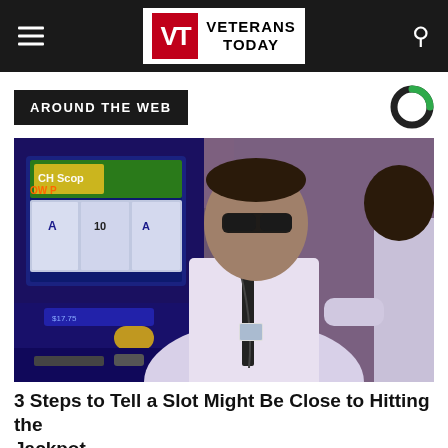VETERANS TODAY
AROUND THE WEB
[Figure (photo): Casino scene showing a man in a suit and lanyard standing in front of slot machines, with another person visible on the right. The slot machine screen shows game graphics with the number 10 visible.]
3 Steps to Tell a Slot Might Be Close to Hitting the Jackpot